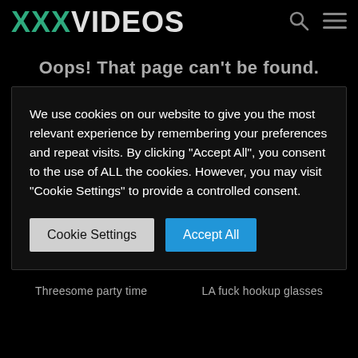XXXVIDEOS
Oops! That page can't be found.
We use cookies on our website to give you the most relevant experience by remembering your preferences and repeat visits. By clicking "Accept All", you consent to the use of ALL the cookies. However, you may visit "Cookie Settings" to provide a controlled consent.
Cookie Settings | Accept All
Threesome party time    LA fuck hookup glasses